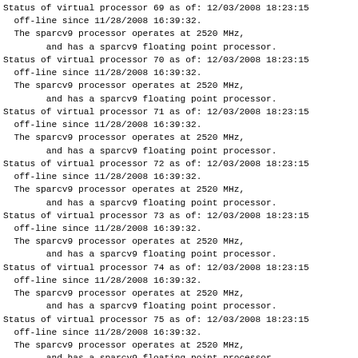Status of virtual processor 69 as of: 12/03/2008 18:23:15
  off-line since 11/28/2008 16:39:32.
  The sparcv9 processor operates at 2520 MHz,
        and has a sparcv9 floating point processor.
Status of virtual processor 70 as of: 12/03/2008 18:23:15
  off-line since 11/28/2008 16:39:32.
  The sparcv9 processor operates at 2520 MHz,
        and has a sparcv9 floating point processor.
Status of virtual processor 71 as of: 12/03/2008 18:23:15
  off-line since 11/28/2008 16:39:32.
  The sparcv9 processor operates at 2520 MHz,
        and has a sparcv9 floating point processor.
Status of virtual processor 72 as of: 12/03/2008 18:23:15
  off-line since 11/28/2008 16:39:32.
  The sparcv9 processor operates at 2520 MHz,
        and has a sparcv9 floating point processor.
Status of virtual processor 73 as of: 12/03/2008 18:23:15
  off-line since 11/28/2008 16:39:32.
  The sparcv9 processor operates at 2520 MHz,
        and has a sparcv9 floating point processor.
Status of virtual processor 74 as of: 12/03/2008 18:23:15
  off-line since 11/28/2008 16:39:32.
  The sparcv9 processor operates at 2520 MHz,
        and has a sparcv9 floating point processor.
Status of virtual processor 75 as of: 12/03/2008 18:23:15
  off-line since 11/28/2008 16:39:32.
  The sparcv9 processor operates at 2520 MHz,
        and has a sparcv9 floating point processor.
Status of virtual processor 76 as of: 12/03/2008 18:23:15
  off-line since 11/28/2008 16:39:32.
  The sparcv9 processor operates at 2520 MHz,